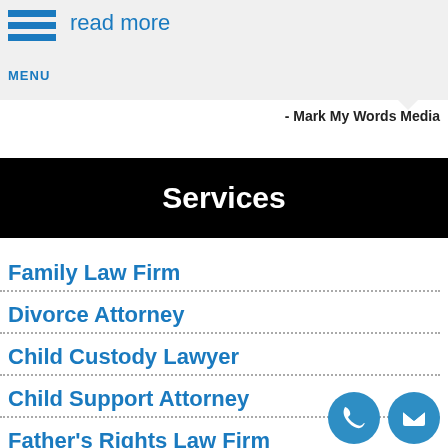read more | MENU
- Mark My Words Media
Services
Family Law Firm
Divorce Attorney
Child Custody Lawyer
Child Support Attorney
Father's Rights Law Firm
Domestic Violence Lawyer